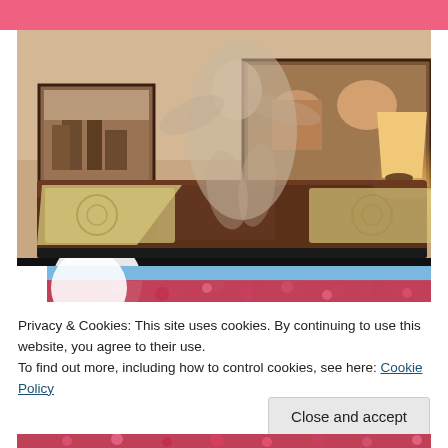[Figure (photo): Pink header bar at top of webpage]
[Figure (photo): Interior living room scene with blurred figure dancing/moving, brown leather sofa with decorative pillows, framed pictures on wall, glowing table lamp on right, warm amber lighting]
[Figure (photo): Partial view of cherry blossom / flower festival scene with white balloon and dense pink/red flowers, blue sky visible]
Privacy & Cookies: This site uses cookies. By continuing to use this website, you agree to their use.
To find out more, including how to control cookies, see here: Cookie Policy
Close and accept
[Figure (photo): Bottom strip of flower festival scene continuing below cookie notice]